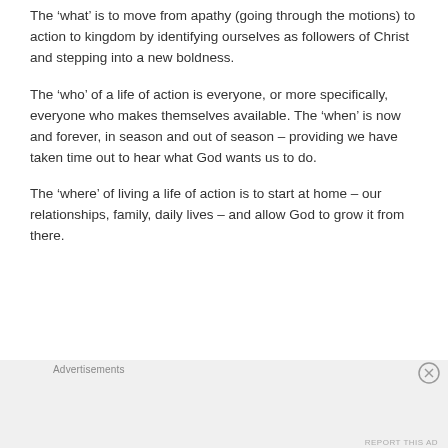The ‘what’ is to move from apathy (going through the motions) to action to kingdom by identifying ourselves as followers of Christ and stepping into a new boldness.
The ‘who’ of a life of action is everyone, or more specifically, everyone who makes themselves available. The ‘when’ is now and forever, in season and out of season – providing we have taken time out to hear what God wants us to do.
The ‘where’ of living a life of action is to start at home – our relationships, family, daily lives – and allow God to grow it from there.
[Figure (infographic): Advertisement banner with dark background: icon of a tree/person figure on white circle, teal text 'Launch your online course with WordPress', and a white-bordered 'Learn More' button]